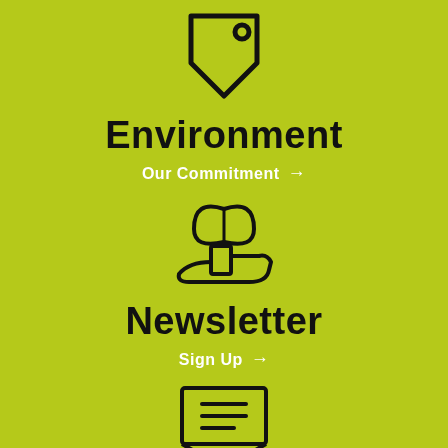[Figure (illustration): Price tag / label icon outline, dark on lime green background]
Environment
Our Commitment  →
[Figure (illustration): Hand holding a leaf icon outline, dark on lime green background]
Newsletter
Sign Up  →
[Figure (illustration): Envelope / mail icon outline, dark on lime green background]